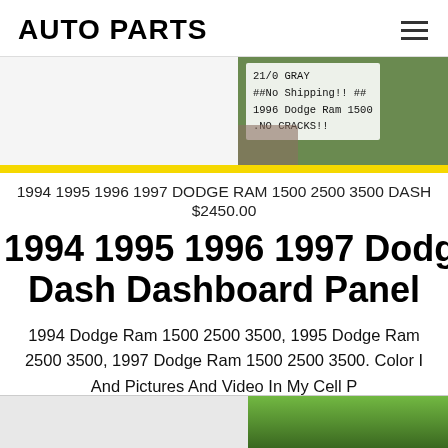AUTO PARTS
[Figure (photo): Photo of a handwritten sign on green background: '21/0 GRAY ##No Shipping!! ## 1996 Dodge Ram 1500 .NO CRACKS!!']
1994 1995 1996 1997 DODGE RAM 1500 2500 3500 DASH
$2450.00
1994 1995 1996 1997 Dodge Dash Dashboard Panel
1994 Dodge Ram 1500 2500 3500, 1995 Dodge Ram 2500 3500, 1997 Dodge Ram 1500 2500 3500. Color I And Pictures And Video In My Cell P
[Figure (photo): Photo of grass/greenery at bottom right corner of page]